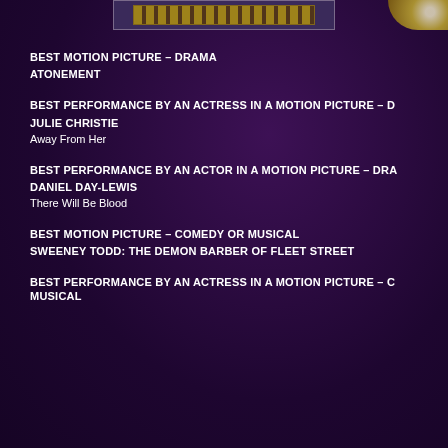[Figure (photo): Top strip showing Golden Globes logo/award imagery with a partial globe trophy on the right]
BEST MOTION PICTURE – DRAMA
ATONEMENT
BEST PERFORMANCE BY AN ACTRESS IN A MOTION PICTURE – D
JULIE CHRISTIE
Away From Her
BEST PERFORMANCE BY AN ACTOR IN A MOTION PICTURE – DRA
DANIEL DAY-LEWIS
There Will Be Blood
BEST MOTION PICTURE – COMEDY OR MUSICAL
SWEENEY TODD: THE DEMON BARBER OF FLEET STREET
BEST PERFORMANCE BY AN ACTRESS IN A MOTION PICTURE – C MUSICAL